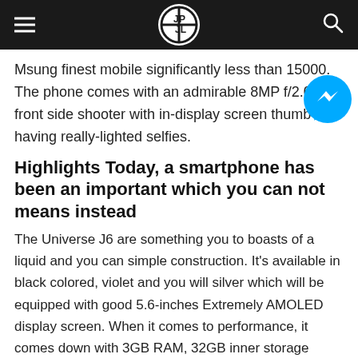[Navigation bar with hamburger menu, logo, and search icon]
Msung finest mobile significantly less than 15000. The phone comes with an admirable 8MP f/2.0 front side shooter with in-display screen thumb having really-lighted selfies.
Highlights Today, a smartphone has been an important which you can not means instead
The Universe J6 are something you to boasts of a liquid and you can simple construction. It's available in black colored, violet and you will silver which will be equipped with good 5.6-inches Extremely AMOLED display screen. When it comes to performance, it comes down with 3GB RAM, 32GB inner storage expandable doing 256GB, and you will Samsung cloud shop around 15GB.